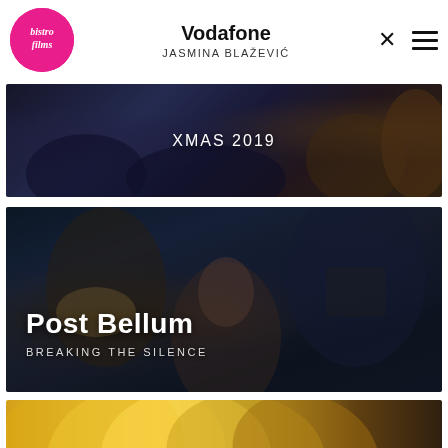[Figure (logo): Bistro Films pink circle logo with white cursive text]
Vodafone
JASMINA BLAŽEVIĆ
[Figure (screenshot): Film thumbnail for Vodafone XMAS 2019 - dark scene with figures]
XMAS 2019
[Figure (screenshot): Film thumbnail for Post Bellum - Breaking The Silence - dark dramatic scene with woman in foreground]
Post Bellum
BREAKING THE SILENCE
[Figure (screenshot): Partial film thumbnail - colorful golden fan-like imagery visible at bottom]